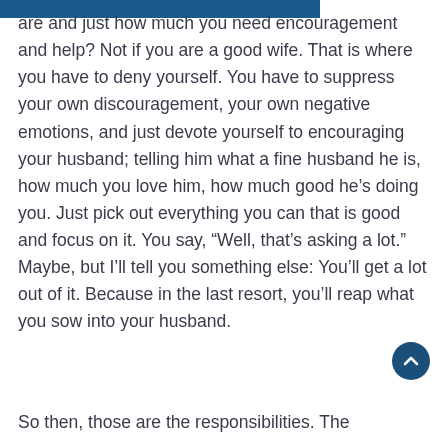are and just how much you need encouragement and help? Not if you are a good wife. That is where you have to deny yourself. You have to suppress your own discouragement, your own negative emotions, and just devote yourself to encouraging your husband; telling him what a fine husband he is, how much you love him, how much good he's doing you. Just pick out everything you can that is good and focus on it. You say, “Well, that’s asking a lot.” Maybe, but I’ll tell you something else: You’ll get a lot out of it. Because in the last resort, you’ll reap what you sow into your husband.
So then, those are the responsibilities. The